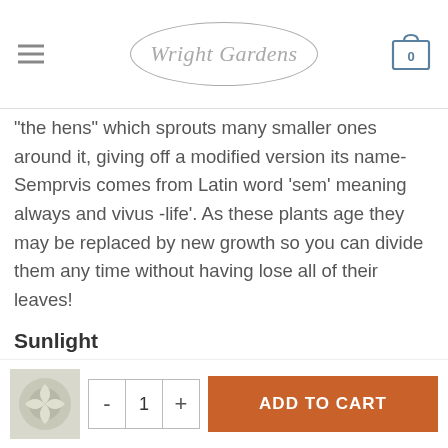Wright Gardens
“the hens” which sprouts many smaller ones around it, giving off a modified version its name- Semprvis comes from Latin word ‘sem’ meaning always and vivus -life’. As these plants age they may be replaced by new growth so you can divide them any time without having lose all of their leaves!
Sunlight
Full Sun
Water
Once established, water occasionally; more in extreme...